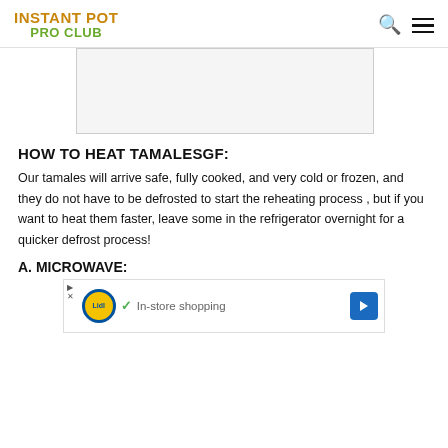INSTANT POT PRO CLUB
[Figure (other): Advertisement placeholder box, light gray background with border]
HOW TO HEAT TAMALESGF:
Our tamales will arrive safe, fully cooked, and very cold or frozen, and they do not have to be defrosted to start the reheating process , but if you want to heat them faster, leave some in the refrigerator overnight for a quicker defrost process!
A. MICROWAVE:
[Figure (screenshot): Lidl advertisement banner: blue play button icon, Lidl logo (yellow circle with blue border), green checkmark, text 'In-store shopping', blue diamond arrow icon on right. Close X button at bottom left.]